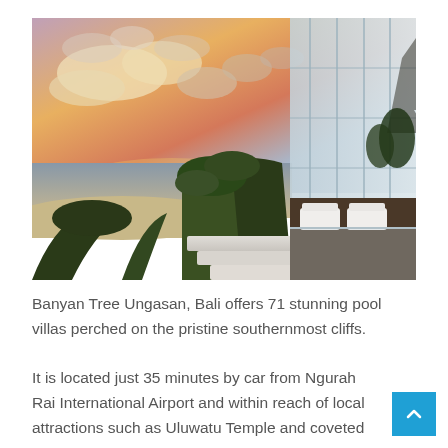[Figure (photo): Cliffside luxury resort terrace with glass railings and white lounge furniture overlooking a beach at sunset with dramatic orange and purple clouds]
Banyan Tree Ungasan, Bali offers 71 stunning pool villas perched on the pristine southernmost cliffs.
It is located just 35 minutes by car from Ngurah Rai International Airport and within reach of local attractions such as Uluwatu Temple and coveted